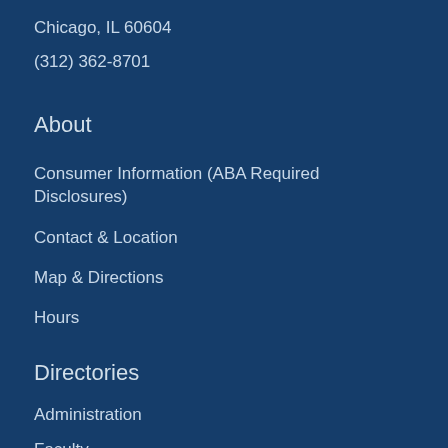Chicago, IL 60604
(312) 362-8701
About
Consumer Information (ABA Required Disclosures)
Contact & Location
Map & Directions
Hours
Directories
Administration
Faculty